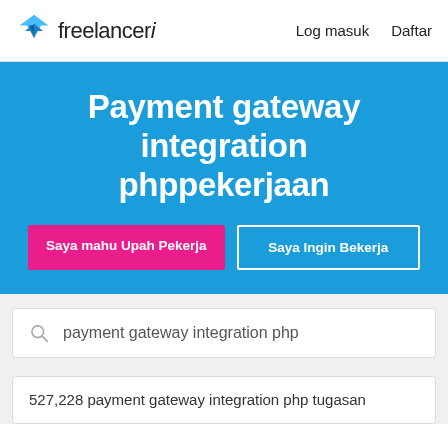freelancer | Log masuk  Daftar
Payment gateway integration phppekerjaan
Saya mahu Upah Pekerja | Saya Ingin Bekerja
payment gateway integration php
527,228 payment gateway integration php tugasan